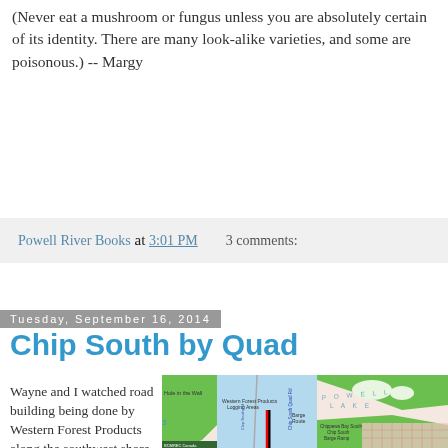(Never eat a mushroom or fungus unless you are absolutely certain of its identity. There are many look-alike varieties, and some are poisonous.) -- Margy
Powell River Books at 3:01 PM    3 comments:
Tuesday, September 16, 2014
Chip South by Quad
Wayne and I watched road building being done by Western Forest Products along the southwest shore of Powell Lake. We wondered what it would be
[Figure (map): Topographic/forestry map showing Powell Lake area, Western Forest Products Logging Areas, Barge Route, Chip South Quad Road, and Chippewa Bay South/Chip South/Barge Ramp labels.]